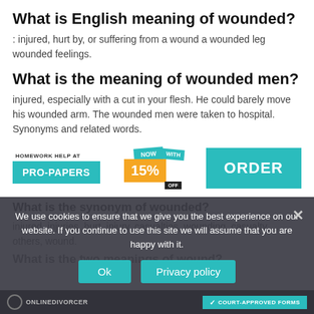What is English meaning of wounded?
: injured, hurt by, or suffering from a wound a wounded leg wounded feelings.
What is the meaning of wounded men?
injured, especially with a cut in your flesh. He could barely move his wounded arm. The wounded men were taken to hospital. Synonyms and related words.
[Figure (infographic): Pro-Papers homework help advertisement banner with 'NOW WITH 15% OFF' and 'ORDER' button]
What is the synonym of wounded?
injured, injuries, hurt, injury, casualties, wounding, casualty, others, wound.
What is the two meanings of wound?
We use cookies to ensure that we give you the best experience on our website. If you continue to use this site we will assume that you are happy with it.